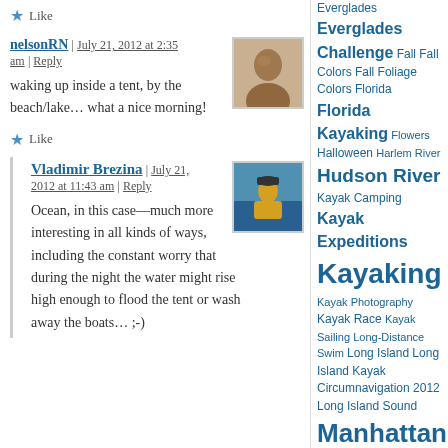★ Like
nelsonRN | July 21, 2012 at 2:35 am | Reply
waking up inside a tent, by the beach/lake… what a nice morning!
★ Like
Vladimir Brezina | July 21, 2012 at 11:43 am | Reply
Ocean, in this case—much more interesting in all kinds of ways, including the constant worry that during the night the water might rise high enough to flood the tent or wash away the boats… ;-)
Everglades Everglades Challenge Fall Fall Colors Fall Foliage Colors Florida Florida Kayaking Flowers Halloween Harlem River Hudson River Kayak Camping Kayak Expeditions Kayaking Kayak Photography Kayak Race Kayak Sailing Long-Distance Swim Long Island Long Island Kayak Circumnavigation 2012 Long Island Sound Manhattan Manhattan Circumnavigation Manhattanhenge Mermaid